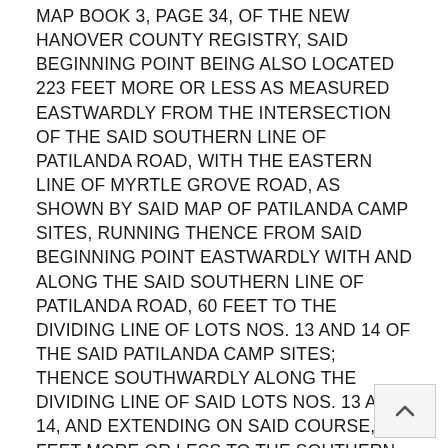MAP BOOK 3, PAGE 34, OF THE NEW HANOVER COUNTY REGISTRY, SAID BEGINNING POINT BEING ALSO LOCATED 223 FEET MORE OR LESS AS MEASURED EASTWARDLY FROM THE INTERSECTION OF THE SAID SOUTHERN LINE OF PATILANDA ROAD, WITH THE EASTERN LINE OF MYRTLE GROVE ROAD, AS SHOWN BY SAID MAP OF PATILANDA CAMP SITES, RUNNING THENCE FROM SAID BEGINNING POINT EASTWARDLY WITH AND ALONG THE SAID SOUTHERN LINE OF PATILANDA ROAD, 60 FEET TO THE DIVIDING LINE OF LOTS NOS. 13 AND 14 OF THE SAID PATILANDA CAMP SITES; THENCE SOUTHWARDLY ALONG THE DIVIDING LINE OF SAID LOTS NOS. 13 AND 14, AND EXTENDING ON SAID COURSE, 320 FEET MORE OR LESS TO THE SOUTHERN LINE OF THE ETHEL LEE SUTTON PROPERTY; THENCE WESTWARDLY WITH SAID SOUTHERN LINE OF ETHEL LEE SUTTON PROPERTY, AND PARALLEL WITH THE SAID SOUTHERN LINE OF PATILANDA ROAD, 60 FEET; THENCE NORTHWARDLY, AND PARALLEL WITH THE SECOND CALL, AND FOLLOWING THE DIVIDING LINE BETWEEN LOTS 10 AND 11, 320 FEET MORE OR LESS TO THE SAID SOUTHERN LINE OF PATILANDA ROAD, THE POINT OF BEGINNING.